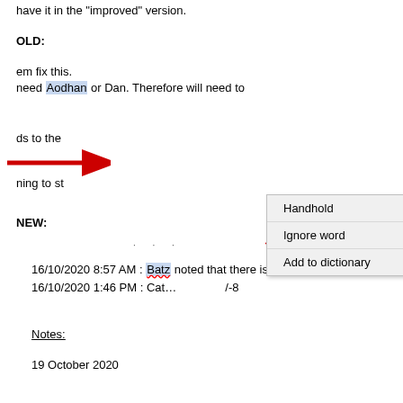have it in the "improved" version.
OLD:
em fix this.
need Aodhan or Dan. Therefore will need to
[Figure (screenshot): Context menu with options: Handhold, Ignore word, Add to dictionary. A red arrow points to 'Add to dictionary'.]
ds to the
ning to st
NEW:
16/10/2020 8:57 AM : Batz noted that there is no wor
16/10/2020 1:46 PM : Cat… /-8
[Figure (screenshot): Spell-check dropdown menu with suggestions: Blatz, Baez (highlighted), Batu, Bat, Bate. A scrollbar is visible on the right.]
Notes:
19 October 2020